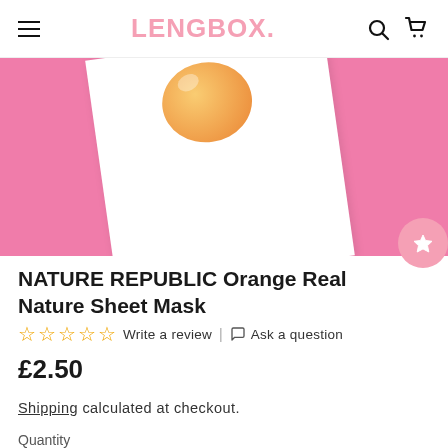LENGBOX.
[Figure (photo): Product photo of NATURE REPUBLIC Orange Real Nature Sheet Mask on a pink background, showing the white sheet mask package with an orange fruit on top.]
NATURE REPUBLIC Orange Real Nature Sheet Mask
☆☆☆☆☆ Write a review | 💬 Ask a question
£2.50
Shipping calculated at checkout.
Quantity